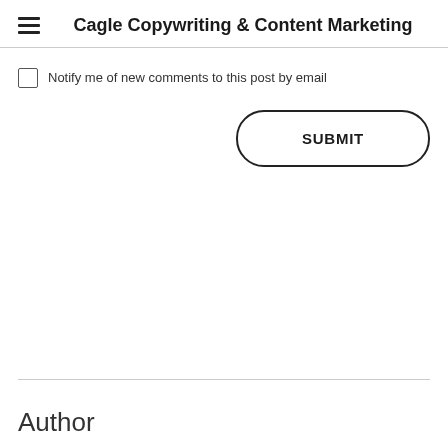Cagle Copywriting & Content Marketing
Notify me of new comments to this post by email
SUBMIT
Author